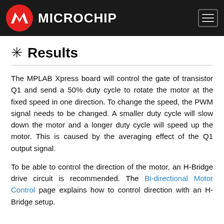Microchip
Results
The MPLAB Xpress board will control the gate of transistor Q1 and send a 50% duty cycle to rotate the motor at the fixed speed in one direction. To change the speed, the PWM signal needs to be changed. A smaller duty cycle will slow down the motor and a longer duty cycle will speed up the motor. This is caused by the averaging effect of the Q1 output signal.
To be able to control the direction of the motor, an H-Bridge drive circuit is recommended. The Bi-directional Motor Control page explains how to control direction with an H-Bridge setup.